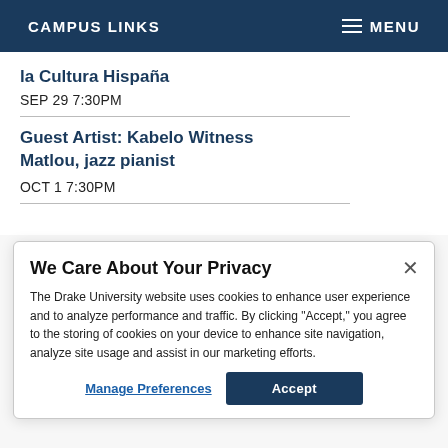CAMPUS LINKS   MENU
la Cultura Hispaña
SEP 29 7:30PM
Guest Artist: Kabelo Witness Matlou, jazz pianist
OCT 1 7:30PM
We Care About Your Privacy
The Drake University website uses cookies to enhance user experience and to analyze performance and traffic. By clicking "Accept," you agree to the storing of cookies on your device to enhance site navigation, analyze site usage and assist in our marketing efforts.
Manage Preferences
Accept